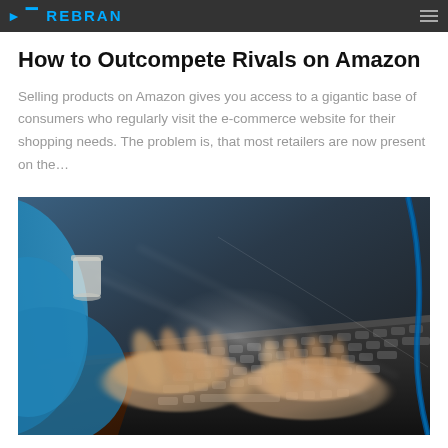REBRAN
How to Outcompete Rivals on Amazon
Selling products on Amazon gives you access to a gigantic base of consumers who regularly visit the e-commerce website for their shopping needs. The problem is, that most retailers are now present on the...
[Figure (photo): Motion-blurred photo of hands typing rapidly on a laptop keyboard, placed on a dark wooden desk. A blue cable is visible on the right. The image conveys fast or urgent typing activity.]